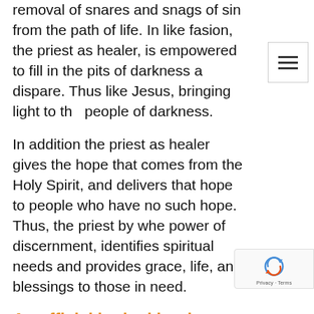removal of snares and snags of sin from the path of life. In like fasion, the priest as healer, is empowered to fill in the pits of darkness an dispare. Thus like Jesus, bringing light to the people of darkness.
In addition the priest as healer gives the hope that comes from the Holy Spirit, and delivers that hope to people who have no such hope. Thus, the priest by whe power of discernment, identifies spiritual needs and provides grace, life, and blessings to those in need.
As official in the kingdom
The Priest is an authorized official in the kingdom of Jesus. The work of Jesus is continued by binding what needs to be bound